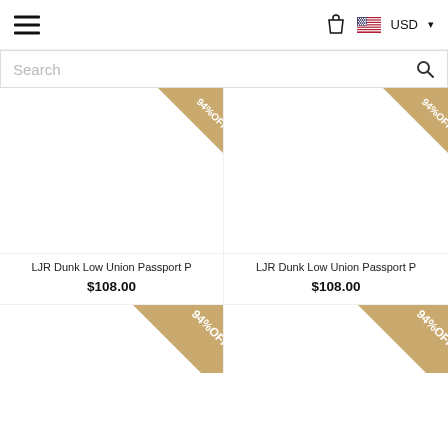[Figure (screenshot): E-commerce website header with hamburger menu, shopping bag icon, USD currency selector with US flag]
[Figure (screenshot): Search bar with placeholder text 'Search' and magnifying glass icon]
LJR Dunk Low Union Passport P
$108.00
LJR Dunk Low Union Passport P
$108.00
[Figure (screenshot): Product card bottom row showing 94%OFF triangular badge on two product images (partially visible)]